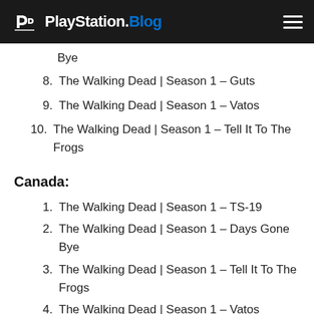PlayStation.Blog
Bye
8. The Walking Dead | Season 1 – Guts
9. The Walking Dead | Season 1 – Vatos
10. The Walking Dead | Season 1 – Tell It To The Frogs
Canada:
1. The Walking Dead | Season 1 – TS-19
2. The Walking Dead | Season 1 – Days Gone Bye
3. The Walking Dead | Season 1 – Tell It To The Frogs
4. The Walking Dead | Season 1 – Vatos
5. The Walking Dead | Season 1 – Wildfire
6. Nat Geo WILD | Season 1 – Africa's Deadly Dozen